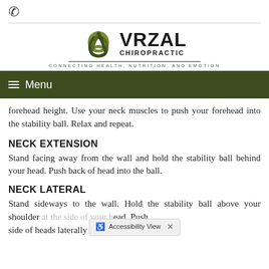[Figure (logo): Vrzal Chiropractic logo with triquetra symbol and tagline CONNECTING HEALTH, NUTRITION, AND EMOTION]
Menu
forehead height. Use your neck muscles to push your forehead into the stability ball. Relax and repeat.
NECK EXTENSION
Stand facing away from the wall and hold the stability ball behind your head. Push back of head into the ball.
NECK LATERAL
Stand sideways to the wall. Hold the stability ball above your shoulder at the side of your head. Push side of heads laterally